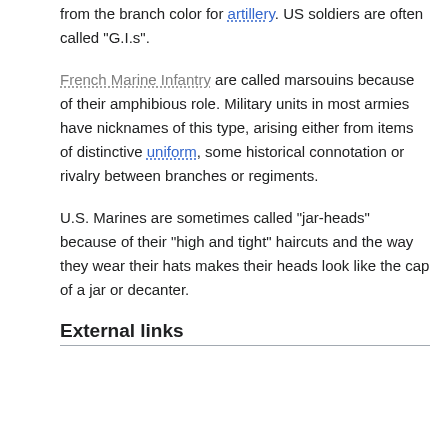from the branch color for artillery. US soldiers are often called "G.I.s".
French Marine Infantry are called marsouins because of their amphibious role. Military units in most armies have nicknames of this type, arising either from items of distinctive uniform, some historical connotation or rivalry between branches or regiments.
U.S. Marines are sometimes called "jar-heads" because of their "high and tight" haircuts and the way they wear their hats makes their heads look like the cap of a jar or decanter.
External links